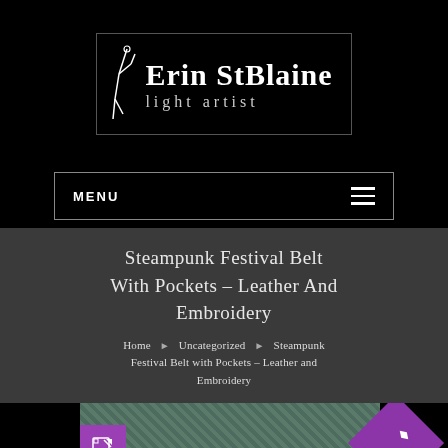[Figure (logo): Erin StBlaine light artist logo with stylized figure on black background]
MENU
Steampunk Festival Belt With Pockets – Leather And Embroidery
Home ▶ Uncategorized ▶ Steampunk Festival Belt with Pockets – Leather and Embroidery
[Figure (photo): Partial view of embroidered leather belt on teal/green textured background, with purple edit icon and purple diamond icon overlay]